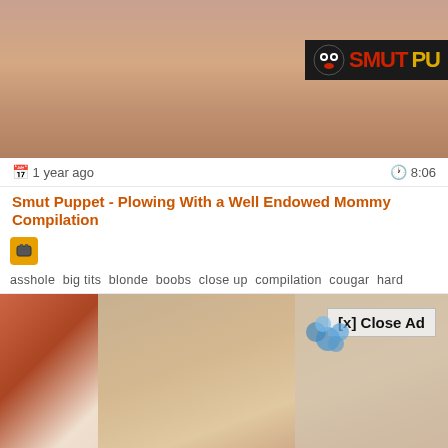[Figure (screenshot): Video thumbnail showing close-up skin tones with a Smut Puppet logo overlay in top right]
1 year ago   8:06
Smut Puppet - Plowing With a Well Endowed Mommy Compilation
asshole  big tits  blonde  boobs  close up  compilation  cougar  hard
[Figure (screenshot): Video thumbnail showing adult content with [x] Close Ad button overlay]